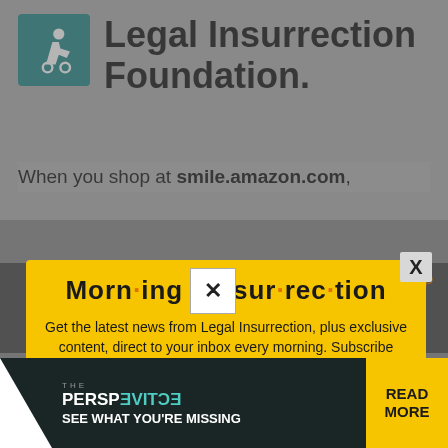Legal Insurrection Foundation.
When you shop at smile.amazon.com,
[Figure (infographic): Morning Insurrection newsletter subscription modal popup with yellow background, bold title 'Morn·ing In·sur·rec·tion' with orange dots, description text, and JOIN NOW button]
Get the latest news from Legal Insurrection, plus exclusive content, direct to your inbox every morning. Subscribe today – it's free!
[Figure (infographic): Bottom advertisement bar with 'THE PERSPECTIVE' text and 'SEE WHAT YOU'RE MISSING' with READ MORE button on yellow background]